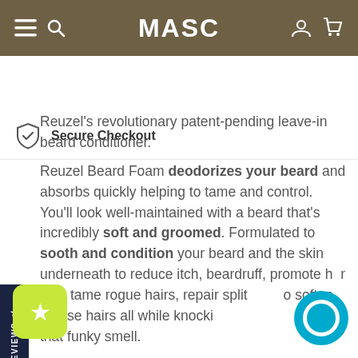MASC — navigation bar with menu, search, account, and cart icons
Secure Checkout
Reuzel's revolutionary patent-pending leave-in beard conditioner. Reuzel Beard Foam deodorizes your beard and absorbs quickly helping to tame and control. You'll look well-maintained with a beard that's incredibly soft and groomed. Formulated to sooth and condition your beard and the skin underneath to reduce itch, beardruff, promote healthier hair, tame rogue hairs, repair split ends, to soften coarse hairs all while knocking out that funky smell.